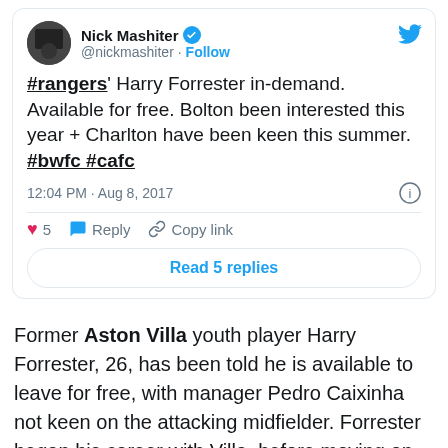[Figure (screenshot): Tweet by Nick Mashiter (@nickmashiter) with text about #rangers Harry Forrester being in-demand, available for free, with Bolton and Charlton interested. Posted 12:04 PM Aug 8, 2017. 5 likes. Reply and Copy link actions. Read 5 replies button.]
Former Aston Villa youth player Harry Forrester, 26, has been told he is available to leave for free, with manager Pedro Caixinha not keen on the attacking midfielder. Forrester began his career with Villa, before moving on to sign for Brentford FC in 2011.